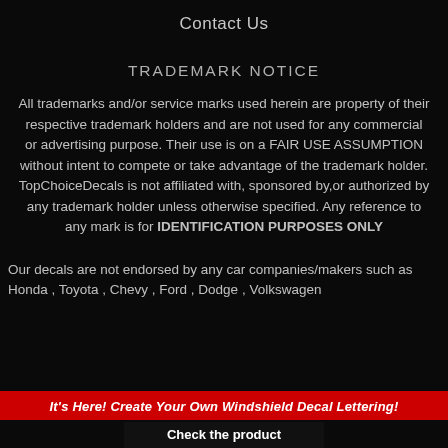Contact Us
TRADEMARK NOTICE
All trademarks and/or service marks used herein are property of their respective trademark holders and are not used for any commercial or advertising purpose. Their use is on a FAIR USE ASSUMPTION without intent to compete or take advantage of the trademark holder. TopChoiceDecals is not affiliated with, sponsored by,or authorized by any trademark holder unless otherwise specified. Any reference to any mark is for IDENTIFICATION PURPOSES ONLY
Our decals are not endorsed by any car companies/makers such as Honda , Toyota , Chevy , Ford , Dodge , Volkswagen
It's Here! Create Your Own Windshield Decal Lettering!
Check the product